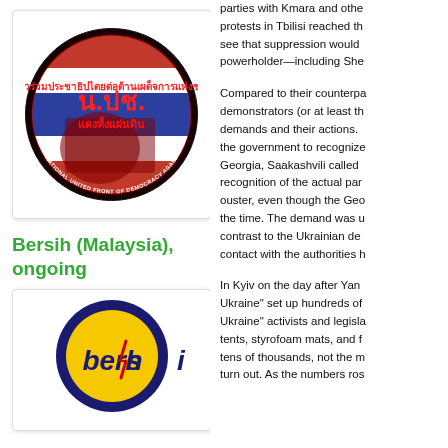[Figure (logo): NUPD (National United Front of Democracy Against Dictatorship) circular badge logo with Thai text, red-black background, figures, and Thai flag]
Bersih (Malaysia), ongoing
[Figure (logo): Bersih (Malaysia) logo - yellow circle on dark blue background with red lightning bolt through the letter i in 'bersih']
parties with Kmara and othe protests in Tbilisi reached th see that suppression would powerholder—including She
Compared to their counterpa demonstrators (or at least th demands and their actions. the government to recognize Georgia, Saakashvili called recognition of the actual par ouster, even though the Geo the time. The demand was u contrast to the Ukrainian de contact with the authorities h
In Kyiv on the day after Yan Ukraine" set up hundreds of Ukraine" activists and legisla tents, styrofoam mats, and f tens of thousands, not the m turn out. As the numbers ros